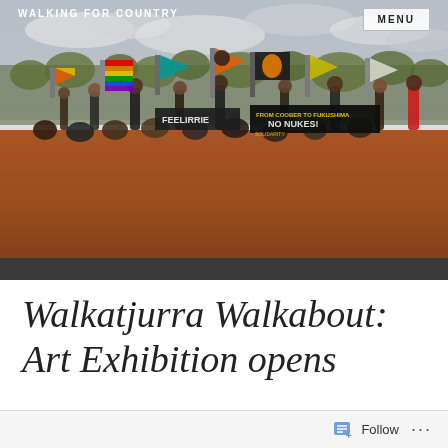WALKING FOR COUNTRY
[Figure (photo): Group of Aboriginal and non-Aboriginal protesters sitting and standing on red desert sand, holding colorful flags and banners including one reading 'NO NUKES!' and 'FROM COOBER TO FUKUSHIMA SOLIDARITY', with desert scrub and trees in the background under a cloudy sky.]
Walkatjurra Walkabout: Art Exhibition opens
Follow ...